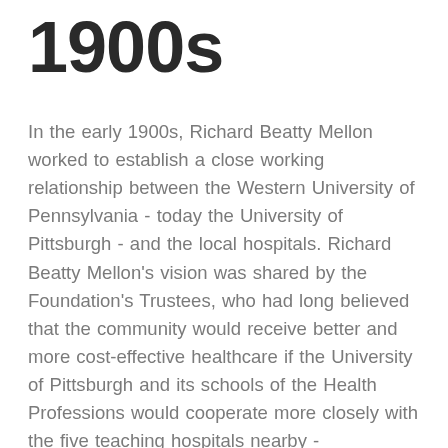1900s
In the early 1900s, Richard Beatty Mellon worked to establish a close working relationship between the Western University of Pennsylvania - today the University of Pittsburgh - and the local hospitals. Richard Beatty Mellon's vision was shared by the Foundation's Trustees, who had long believed that the community would receive better and more cost-effective healthcare if the University of Pittsburgh and its schools of the Health Professions would cooperate more closely with the five teaching hospitals nearby - Presbyterian University, Children's, Eye and Ear, Magee-Womens, and Montefiore, as well as Western Psychiatric Institute and Clinic. Over time, this strategy led to the formation of the University Health Center of Pittsburgh in 1965. The six institutions agreed to